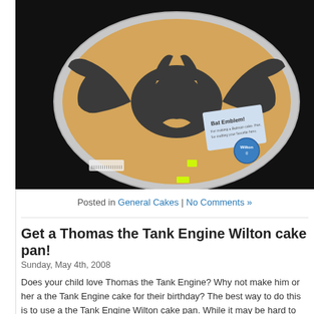[Figure (photo): A Batman-symbol shaped Wilton cake pan sitting on a dark background. The pan is round/oval with a metal rim, and contains the Batman bat symbol shape. A label card and a Wilton seal sticker are visible inside the pan.]
Posted in General Cakes | No Comments »
Get a Thomas the Tank Engine Wilton cake pan!
Sunday, May 4th, 2008
Does your child love Thomas the Tank Engine? Why not make him or her a the Tank Engine cake for their birthday? The best way to do this is to use a the Tank Engine Wilton cake pan. While it may be hard to find a Thomas Engine Wilton cakepan, you can easily find one on eBay! Click here to